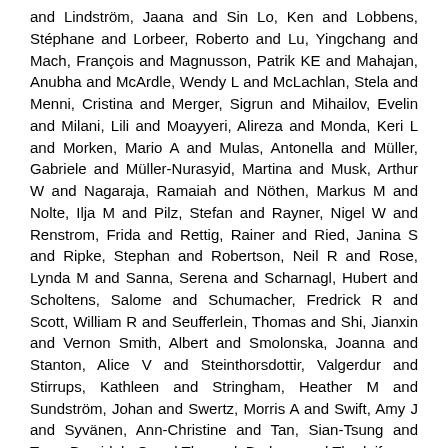and Lindström, Jaana and Sin Lo, Ken and Lobbens, Stéphane and Lorbeer, Roberto and Lu, Yingchang and Mach, François and Magnusson, Patrik KE and Mahajan, Anubha and McArdle, Wendy L and McLachlan, Stela and Menni, Cristina and Merger, Sigrun and Mihailov, Evelin and Milani, Lili and Moayyeri, Alireza and Monda, Keri L and Morken, Mario A and Mulas, Antonella and Müller, Gabriele and Müller-Nurasyid, Martina and Musk, Arthur W and Nagaraja, Ramaiah and Nöthen, Markus M and Nolte, Ilja M and Pilz, Stefan and Rayner, Nigel W and Renstrom, Frida and Rettig, Rainer and Ried, Janina S and Ripke, Stephan and Robertson, Neil R and Rose, Lynda M and Sanna, Serena and Scharnagl, Hubert and Scholtens, Salome and Schumacher, Fredrick R and Scott, William R and Seufferlein, Thomas and Shi, Jianxin and Vernon Smith, Albert and Smolonska, Joanna and Stanton, Alice V and Steinthorsdottir, Valgerdur and Stirrups, Kathleen and Stringham, Heather M and Sundström, Johan and Swertz, Morris A and Swift, Amy J and Syvänen, Ann-Christine and Tan, Sian-Tsung and Tayo, Bamidele O and Thorand, Barbara and Thorleifsson, Gudmar and Tyrer, Jonathan P and Uh, Hae-Won and Vandenput, Liesbeth and Verhulst, Frank C and Vermeulen, Sita H and Verweij, Niek and Vonk, Judith M and Waite, Lindsay L and Warren, Helen R and Waterworth, Dawn and